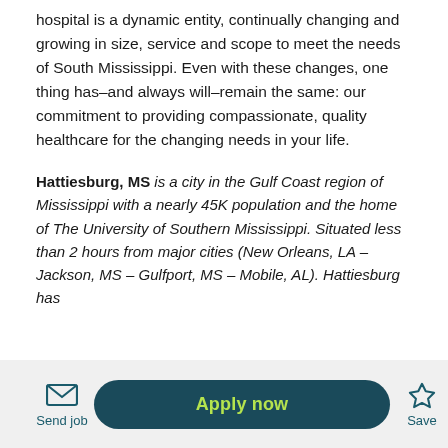hospital is a dynamic entity, continually changing and growing in size, service and scope to meet the needs of South Mississippi. Even with these changes, one thing has–and always will–remain the same: our commitment to providing compassionate, quality healthcare for the changing needs in your life.
Hattiesburg, MS is a city in the Gulf Coast region of Mississippi with a nearly 45K population and the home of The University of Southern Mississippi. Situated less than 2 hours from major cities (New Orleans, LA – Jackson, MS – Gulfport, MS – Mobile, AL). Hattiesburg has
Send job   Apply now   Save